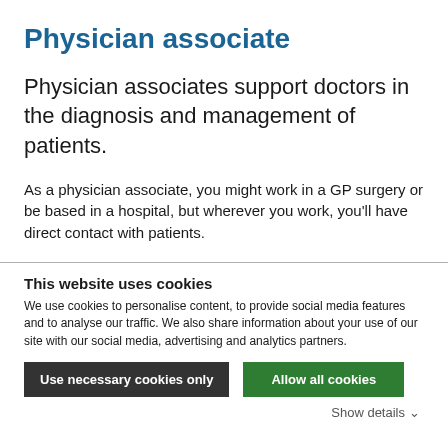Physician associate
Physician associates support doctors in the diagnosis and management of patients.
As a physician associate, you might work in a GP surgery or be based in a hospital, but wherever you work, you'll have direct contact with patients.
This website uses cookies
We use cookies to personalise content, to provide social media features and to analyse our traffic. We also share information about your use of our site with our social media, advertising and analytics partners.
Use necessary cookies only | Allow all cookies
Show details